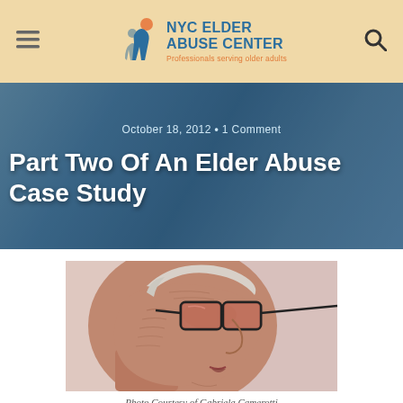NYC Elder Abuse Center — Professionals serving older adults
October 18, 2012 • 1 Comment
Part Two Of An Elder Abuse Case Study
[Figure (photo): Close-up profile photo of an elderly woman wearing large-framed glasses, showing detailed facial wrinkles, white hair, and a pearl earring against a light background.]
Photo Courtesy of Gabriela Camerotti